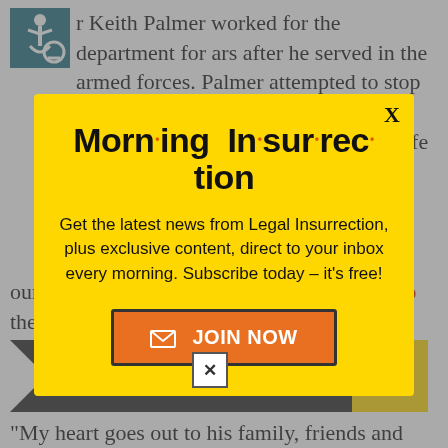r Keith Palmer worked for the department for ars after he served in the armed forces. Palmer attempted to stop the attacker from entering Parliament grounds, suffering from numerous knife
[Figure (infographic): Yellow popup modal for Morning Insurrection newsletter signup with close X button, bold title 'Morn·ing In·sur·rec·tion', body text about Legal Insurrection newsletter, and orange JOIN NOW button]
our city and the heart of r democracy from the
[Figure (infographic): Ad banner: THE PERSPECTIVE - SEE WHAT YOU'RE MISSING with READ MORE button]
"My heart goes out to his family, friends and